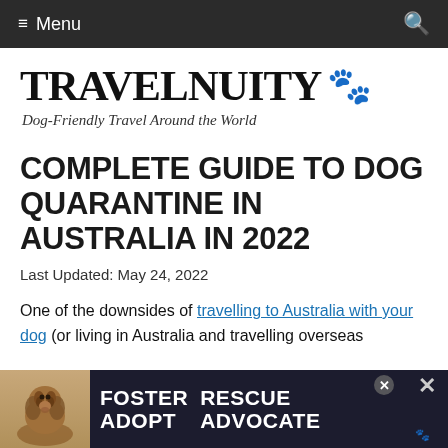≡ Menu
TRAVELNUITY 🐾
Dog-Friendly Travel Around the World
COMPLETE GUIDE TO DOG QUARANTINE IN AUSTRALIA IN 2022
Last Updated: May 24, 2022
One of the downsides of travelling to Australia with your dog (or living in Australia and travelling overseas with your dog) is quarantine. This comes from
[Figure (photo): Advertisement banner with beagle dog photo and text: FOSTER ADOPT / RESCUE ADVOCATE with close buttons]